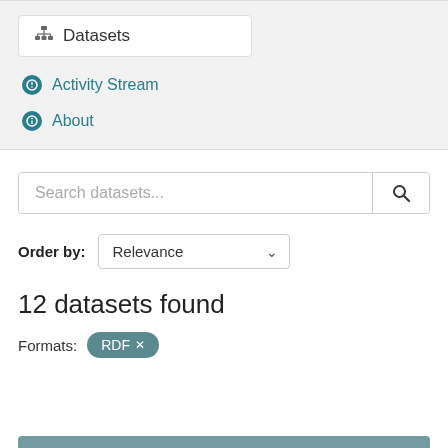Datasets
Activity Stream
About
Search datasets...
Order by: Relevance
12 datasets found
Formats: RDF ×